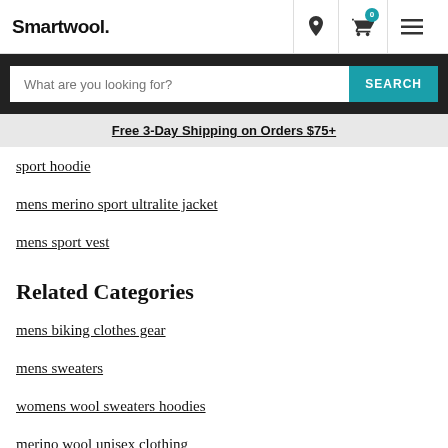Smartwool.
What are you looking for? SEARCH
Free 3-Day Shipping on Orders $75+
sport hoodie
mens merino sport ultralite jacket
mens sport vest
Related Categories
mens biking clothes gear
mens sweaters
womens wool sweaters hoodies
merino wool unisex clothing